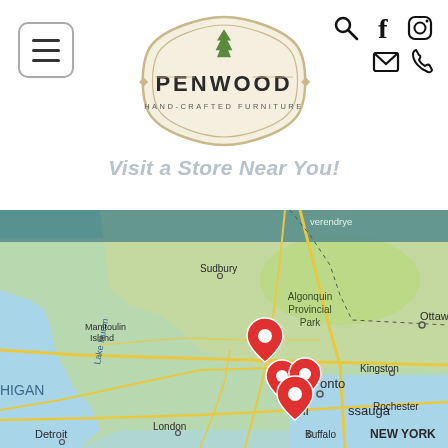[Figure (logo): Penwood Hand-Crafted Furniture logo in an oval badge shape with a tree icon]
Visit a Store Near You!
[Figure (map): Google Maps view of Ontario, Canada showing Sudbury, Algonquin Provincial Park, Ottawa, Kingston, Manitoulin Island, Lake Huron, Toronto, Mississauga, London, Rochester, Buffalo, Detroit, and NEW YORK, with four red location pin markers clustered near Toronto/Mississauga area and one near Barrie/Huntsville area]